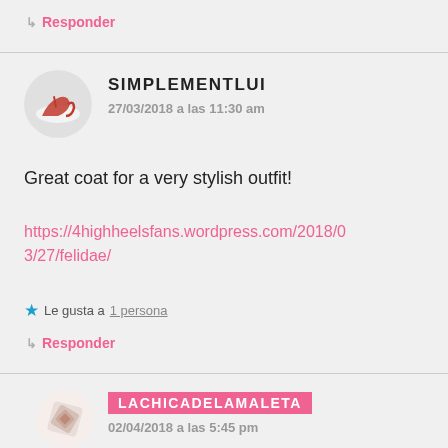↳ Responder
SIMPLEMENTLUI
27/03/2018 a las 11:30 am
Great coat for a very stylish outfit!
https://4highheelsfans.wordpress.com/2018/03/27/felidae/
★ Le gusta a 1 persona
↳ Responder
LACHICADELAMALETA
02/04/2018 a las 5:45 pm